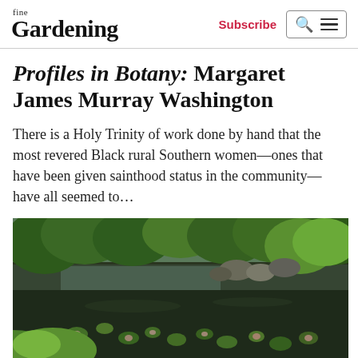fine Gardening | Subscribe
Profiles in Botany: Margaret James Murray Washington
There is a Holy Trinity of work done by hand that the most revered Black rural Southern women—ones that have been given sainthood status in the community—have all seemed to…
[Figure (photo): Garden pond with lily pads floating on dark water, surrounded by lush green trees and rocks, outdoor nature scene]